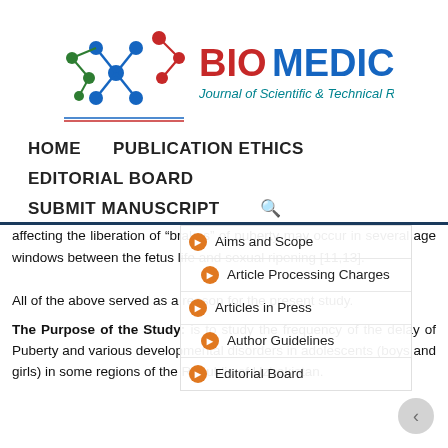[Figure (logo): Biomedical Journal of Scientific & Technical Research logo with molecular chain graphic and red/blue/green colored nodes]
HOME   PUBLICATION ETHICS   EDITORIAL BOARD   SUBMIT MANUSCRIPT
affecting the liberation of “brakes” of puberty may occur in several age windows between the fetus life and sexual ripening [11,13].
All of the above served as a reason for the present study.
The Purpose of the Study: is to study the frequency of the delay of Puberty and various developmental disorders in adolescents (boys and girls) in some regions of the Republic of Uzbekistan.
Aims and Scope
Article Processing Charges
Articles in Press
Author Guidelines
Editorial Board